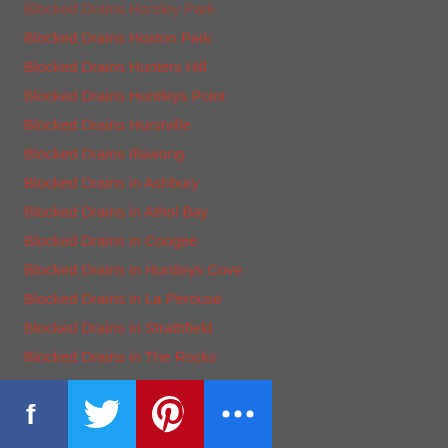Blocked Drains Horsley Park
Blocked Drains Hoxton Park
Blocked Drains Hunters Hill
Blocked Drains Huntleys Point
Blocked Drains Hurstville
Blocked Drains Illawong
Blocked Drains in Ashbury
Blocked Drains in Athol Bay
Blocked Drains in Coogee
Blocked Drains in Huntleys Cove
Blocked Drains in La Perouse
Blocked Drains in Strathfield
Blocked Drains in The Rocks
Blocked Drains in The Spit
Blocked Drains Inner West
Blocked Drains Jamnisontown
Blocked Drains Kearns
Blocked Drains Kelly's Bush
Blocked Drains Kellys Creek
Blocked Drains Kenthun